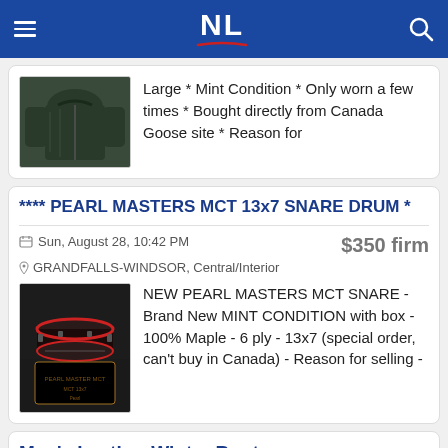NL
Large * Mint Condition * Only worn a few times * Bought directly from Canada Goose site * Reason for
**** PEARL MASTERS MCT 13x7 SNARE DRUM *
Sun, August 28, 10:42 PM
$350 firm
GRANDFALLS-WINDSOR, Central/Interior
NEW PEARL MASTERS MCT SNARE - Brand New MINT CONDITION with box - 100% Maple - 6 ply - 13x7 (special order, can't buy in Canada) - Reason for selling -
Men's Leather Winter Boots